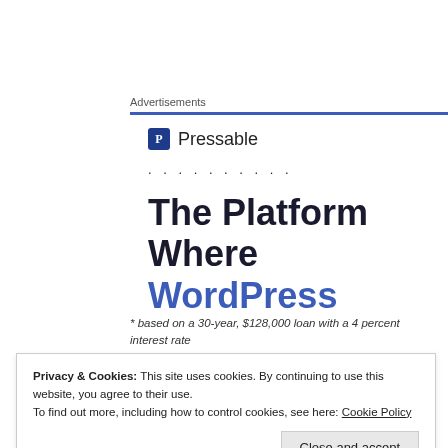Advertisements
[Figure (logo): Pressable logo with blue P icon and Pressable text, followed by a dotted line]
The Platform Where WordPress
* based on a 30-year, $128,000 loan with a 4 percent interest rate
Privacy & Cookies: This site uses cookies. By continuing to use this website, you agree to their use. To find out more, including how to control cookies, see here: Cookie Policy